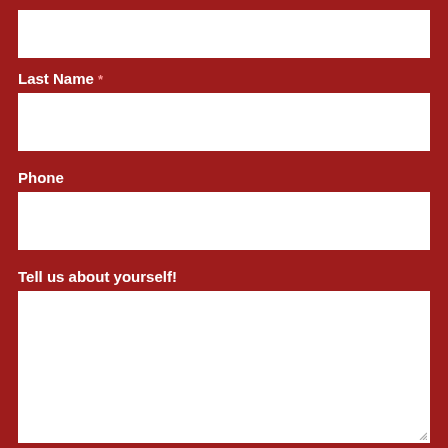(First Name field - empty input box at top)
Last Name *
(Last Name input box - empty)
Phone
(Phone input box - empty)
Tell us about yourself!
(Large textarea - empty)